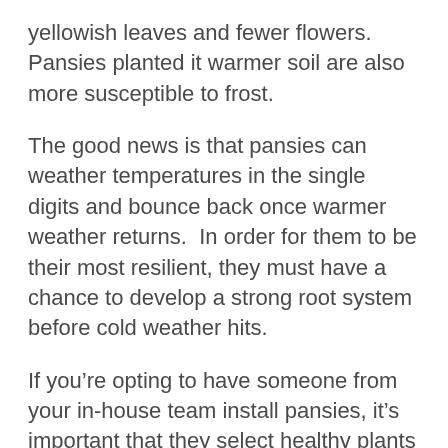yellowish leaves and fewer flowers.  Pansies planted it warmer soil are also more susceptible to frost.
The good news is that pansies can weather temperatures in the single digits and bounce back once warmer weather returns.  In order for them to be their most resilient, they must have a chance to develop a strong root system before cold weather hits.
If you’re opting to have someone from your in-house team install pansies, it’s important that they select healthy plants that are compact—not “leggy”.  They’ll need to look for pansies with deep green foliage.  Also, transplanted pansies that are “leggy” or root-bound in the